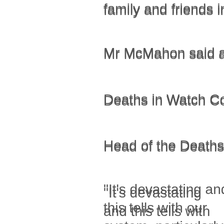family and friends in their grie
Mr McMahon said a coronial
Deaths in Watch Committee w
Head of the Deaths in Watch
"It's devastating and this tells with our system, particularly i
"Our condolences go out to th
Mr Newhouse said he was to
"The Royal Commission [into removal of all ligature points i he said.
"This is appalling and needs t
"We don't have any detail, bu